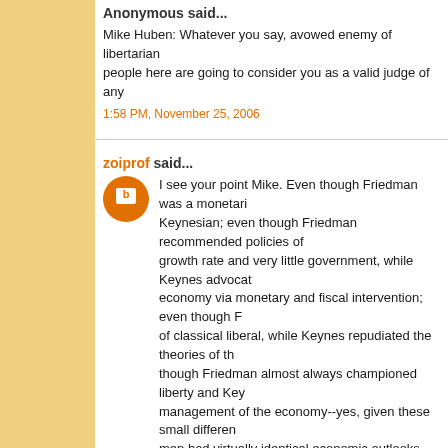Anonymous said...
Mike Huben: Whatever you say, avowed enemy of libertarian people here are going to consider you as a valid judge of any
1:58 PM, November 25, 2006
zoiprof said...
I see your point Mike. Even though Friedman was a monetari Keynesian; even though Friedman recommended policies of growth rate and very little government, while Keynes advocat economy via monetary and fiscal intervention; even though F of classical liberal, while Keynes repudiated the theories of th though Friedman almost always championed liberty and Key management of the economy--yes, given these small differen men had virtually identical economic outlooks.
I should be so wise as you some day when I stop reading the on secondary sources and wikipedia as you seem to prefer.
3:02 PM, November 25, 2006
Mike Huben said...
Francois, I can see you are a master of the content-free denu actually have a coherent idea.